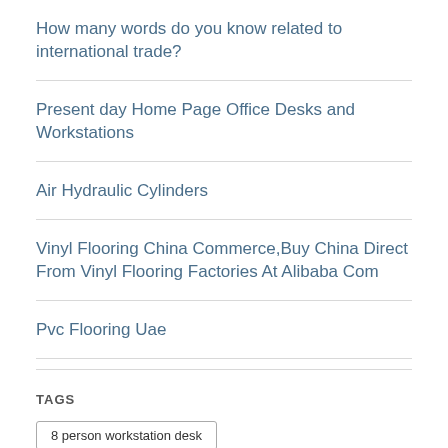How many words do you know related to international trade?
Present day Home Page Office Desks and Workstations
Air Hydraulic Cylinders
Vinyl Flooring China Commerce,Buy China Direct From Vinyl Flooring Factories At Alibaba Com
Pvc Flooring Uae
TAGS
8 person workstation desk
air over oil cylinder air pneumatic cylinder
carton box maker
international trade
made in china
pc strand
pc wire